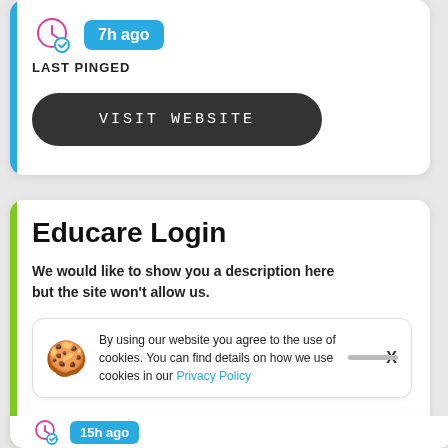7h ago
LAST PINGED
VISIT WEBSITE
Educare Login
We would like to show you a description here but the site won't allow us.
By using our website you agree to the use of cookies. You can find details on how we use cookies in our Privacy Policy
15h ago